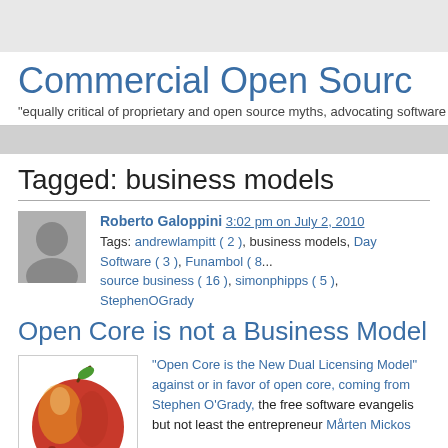Commercial Open Source
"equally critical of proprietary and open source myths, advocating software c..."
Tagged: business models
Roberto Galoppini 3:02 pm on July 2, 2010
Tags: andrewlampitt ( 2 ), business models, Day Software ( 3 ), Funambol ( 8... ), source business ( 16 ), simonphipps ( 5 ), StephenOGrady
Open Core is not a Business Model
[Figure (photo): Photo of a red and yellow apple on white background]
"Open Core is the New Dual Licensing Model" against or in favor of open core, coming from Stephen O'Grady, the free software evangelis... but not least the entrepreneur Mårten Mickos...

Let's dig now deeper into what is open core to...
(More ….)